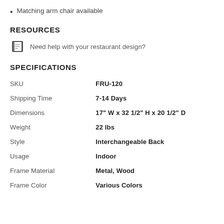Matching arm chair available
RESOURCES
Need help with your restaurant design?
SPECIFICATIONS
|  |  |
| --- | --- |
| SKU | FRU-120 |
| Shipping Time | 7-14 Days |
| Dimensions | 17" W x 32 1/2" H x 20 1/2" D |
| Weight | 22 lbs |
| Style | Interchangeable Back |
| Usage | Indoor |
| Frame Material | Metal, Wood |
| Frame Color | Various Colors |